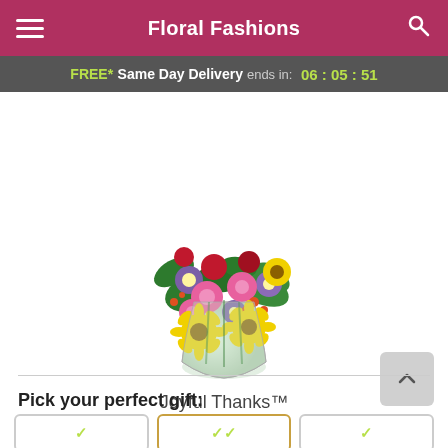Floral Fashions
FREE* Same Day Delivery ends in: 06 : 05 : 51
[Figure (photo): A colorful floral bouquet in a glass vase featuring yellow daisies, pink roses, purple asters, red carnations, and green foliage.]
Joyful Thanks™
Pick your perfect gift: